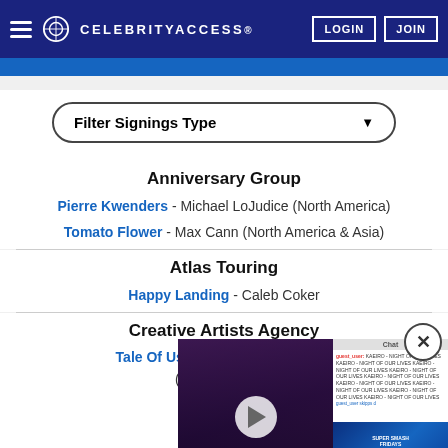CELEBRITYACCESS
Filter Signings Type
Anniversary Group
Pierre Kwenders - Michael LoJudice (North America)
Tomato Flower - Max Cann (North America & Asia)
Atlas Touring
Happy Landing - Caleb Coker
Creative Artists Agency
Tale Of Us - Ferry Rais-Shaghaghi (North America)
Cult Artists
Birdee - Dan...